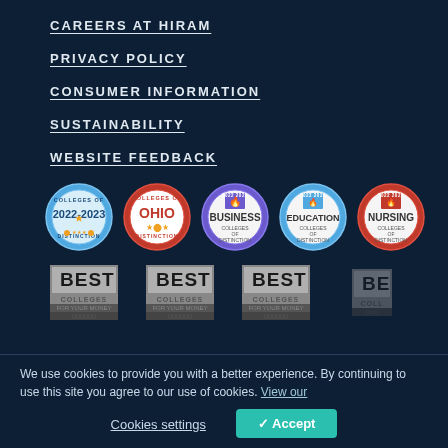CAREERS AT HIRAM
PRIVACY POLICY
CONSUMER INFORMATION
SUSTAINABILITY
WEBSITE FEEDBACK
[Figure (logo): Five college distinction badges: 2022-2023 Colleges of Distinction (blue), Ohio Colleges of Distinction (red), Business Colleges of Distinction (purple/white), Education Colleges of Distinction (blue/white), Nursing Colleges of Distinction (red/white)]
[Figure (logo): Three US News Best Colleges badges and a partial fourth badge, rendered in grayscale]
We use cookies to provide you with a better experience. By continuing to use this site you agree to our use of cookies. View our
Cookies settings
Accept